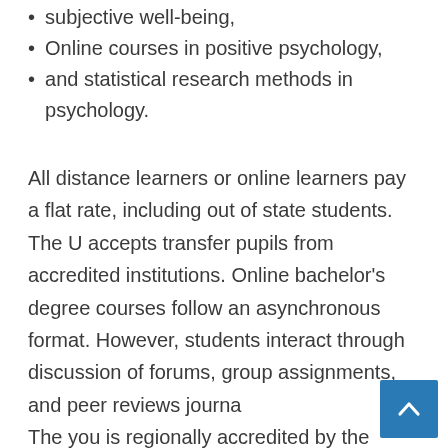subjective well-being,
Online courses in positive psychology,
and statistical research methods in psychology.
All distance learners or online learners pay a flat rate, including out of state students. The U accepts transfer pupils from accredited institutions. Online bachelor’s degree courses follow an asynchronous format. However, students interact through discussion of forums, group assignments, and peer reviews journa… The you is regionally accredited by the